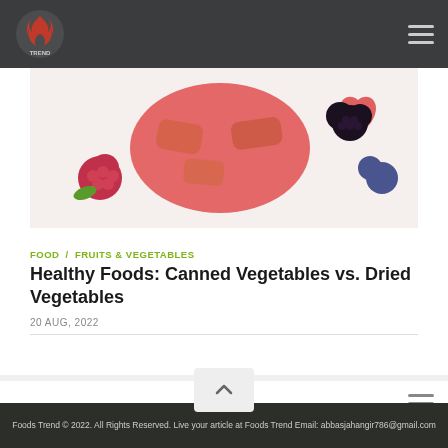Foods Trend — navigation bar with logo and hamburger menu
[Figure (photo): Close-up photo of assorted dried and fresh fruits including raspberries, watermelon pieces (heart-shaped), blackberries, and blueberries on a white surface]
FOOD / FRUITS & VEGETABLES
Healthy Foods: Canned Vegetables vs. Dried Vegetables
20 AUG, 2022
Foods Trend © 2022. All Rights Reserved. Live your article at Foods Trend Email: abbasjahangir786@gmail.com